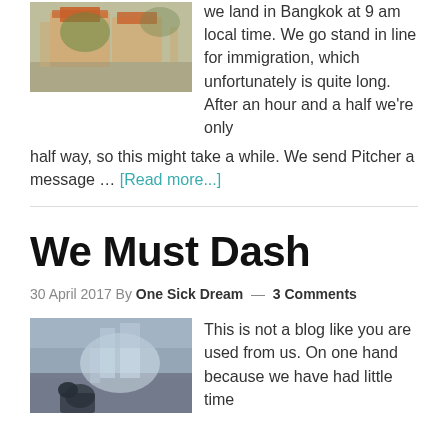[Figure (photo): Photo of a Thai temple/street scene with orange-roofed building and greenery]
we land in Bangkok at 9 am local time. We go stand in line for immigration, which unfortunately is quite long. After an hour and a half we're only half way, so this might take a while. We send Pitcher a message … [Read more...]
We Must Dash
30 April 2017 By One Sick Dream — 3 Comments
[Figure (photo): Photo of two people near a large waterfall with mist]
This is not a blog like you are used from us. On one hand because we have had little time